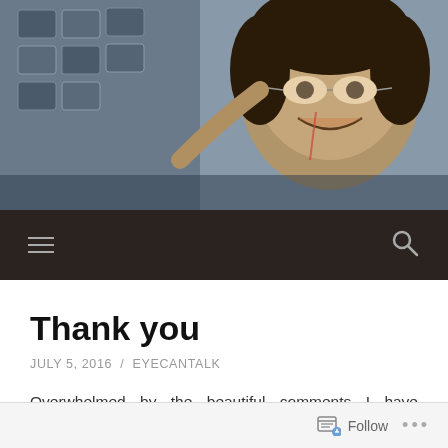[Figure (photo): A smiling child with glasses and a brace/tube, reaching toward what appear to be communication cards or an assistive technology device. The image is in muted cool tones.]
Navigation bar with hamburger menu icon and search icon on dark background
Thank you
JULY 5, 2016  /  EYECANTALK
Overwhelmed by the beautiful comments I have received, I want to thank you for getting my message out – that children like me need to be taught to read and write.
Follow  ...